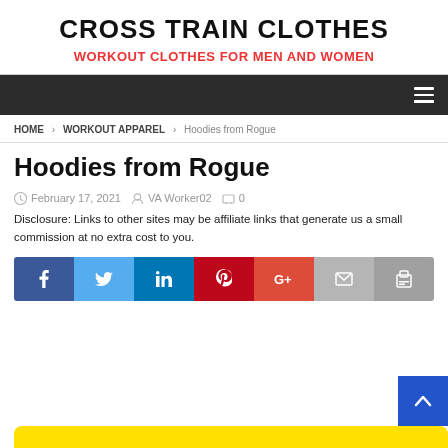CROSS TRAIN CLOTHES
WORKOUT CLOTHES FOR MEN AND WOMEN
HOME > WORKOUT APPAREL > Hoodies from Rogue
Hoodies from Rogue
February 17, 2021   VA Worker02   0
Disclosure: Links to other sites may be affiliate links that generate us a small commission at no extra cost to you.
[Figure (infographic): Social media sharing buttons: Facebook, Twitter, LinkedIn, Pinterest, Google+, Email, Print]